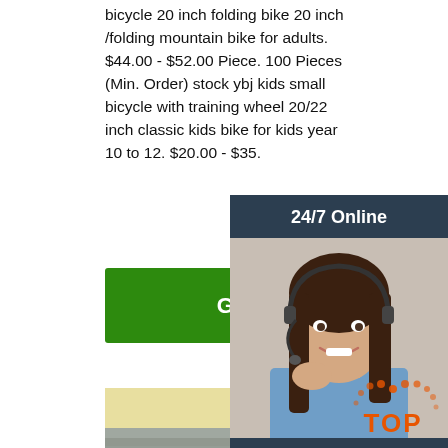bicycle 20 inch folding bike 20 inch /folding mountain bike for adults. $44.00 - $52.00 Piece. 100 Pieces (Min. Order) stock ybj kids small bicycle with training wheel 20/22 inch classic kids bike for kids year 10 to 12. $20.00 - $35.00 Pi...
[Figure (other): Green 'Get Price' button]
[Figure (photo): Photo of steel rebar/reinforcing bars stacked in a yard with construction in background]
[Figure (other): Sidebar overlay: '24/7 Online' header, photo of female customer service representative wearing headset, 'Click here for free chat!' text, orange QUOTATION button, and TOP badge]